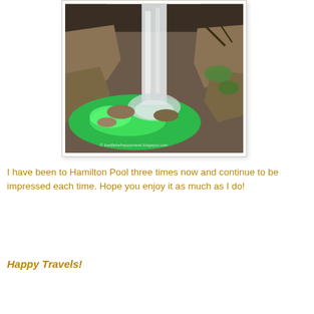[Figure (photo): A waterfall cascading down rocky canyon walls into a vivid green pool at Hamilton Pool. Photo watermarked with livelifebehappytravel.blogspot.com]
I have been to Hamilton Pool three times now and continue to be impressed each time. Hope you enjoy it as much as I do!
Happy Travels!